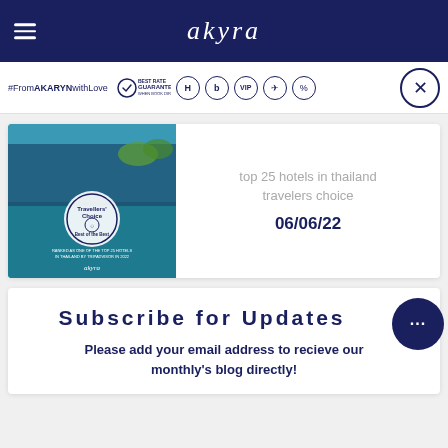akyra
#FromAKARYNwithLove — Best Rate Guarantee when you book direct, icons for hotel amenities
[Figure (photo): Hotel pool image with Travellers Choice award badge and text: Ranked as one of the top 25 hotels in Thailand by Tripadvisor in 2022]
top 25 hotels in thailand travelers choice
06/06/22
Subscribe for Updates
Please add your email address to recieve our monthly's blog directly!